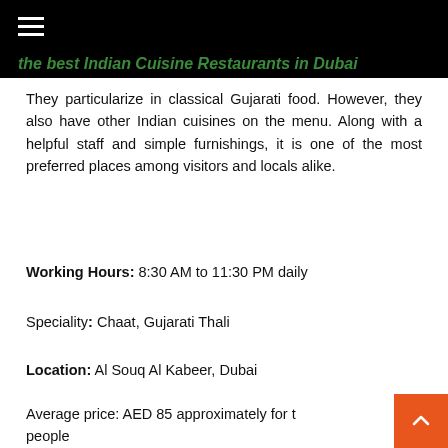the best Indian Cuisine Restaurants in Dubai
They particularize in classical Gujarati food. However, they also have other Indian cuisines on the menu. Along with a helpful staff and simple furnishings, it is one of the most preferred places among visitors and locals alike.
Working Hours: 8:30 AM to 11:30 PM daily
Speciality: Chaat, Gujarati Thali
Location: Al Souq Al Kabeer, Dubai
Average price: AED 85 approximately for t people